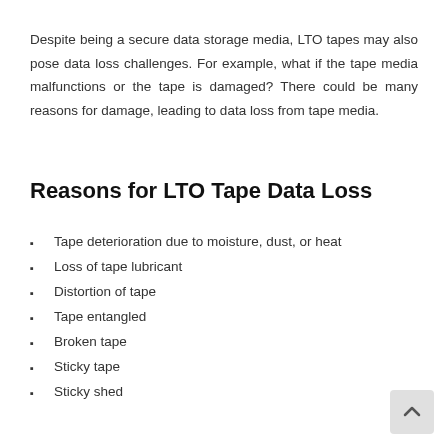Despite being a secure data storage media, LTO tapes may also pose data loss challenges. For example, what if the tape media malfunctions or the tape is damaged? There could be many reasons for damage, leading to data loss from tape media.
Reasons for LTO Tape Data Loss
Tape deterioration due to moisture, dust, or heat
Loss of tape lubricant
Distortion of tape
Tape entangled
Broken tape
Sticky tape
Sticky shed